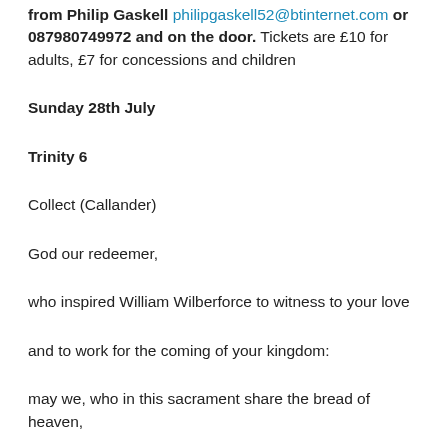from Philip Gaskell philipgaskell52@btinternet.com or 087980749972 and on the door. Tickets are £10 for adults, £7 for concessions and children
Sunday 28th July
Trinity 6
Collect (Callander)
God our redeemer,
who inspired William Wilberforce to witness to your love
and to work for the coming of your kingdom:
may we, who in this sacrament share the bread of heaven,
be fired by your Spirit to proclaim the gospel in our daily living